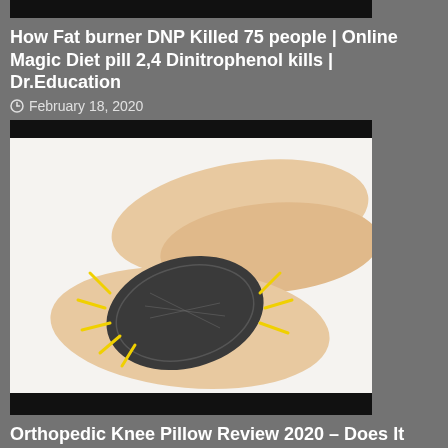[Figure (screenshot): Black bar at top of page (cropped thumbnail top bar)]
How Fat burner DNP Killed 75 people | Online Magic Diet pill 2,4 Dinitrophenol kills | Dr.Education
February 18, 2020
[Figure (photo): Orthopedic knee pillow image showing a person's knee with a pillow and yellow rays/highlight marks, with black bars top and bottom]
Orthopedic Knee Pillow Review 2020 – Does It Work?
February 17, 2020
[Figure (screenshot): Opigesic Pain product image with Hindi text about joint pain, muscle stiffness, ingredients, usage, precautions, and Honest Review label]